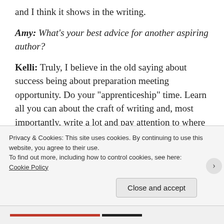and I think it shows in the writing.
Amy: What's your best advice for another aspiring author?
Kelli: Truly, I believe in the old saying about success being about preparation meeting opportunity. Do your “apprenticeshipˮ time. Learn all you can about the craft of writing and, most importantly, write a lot and pay attention to where your personal writing weaknesses are, and then find someone to teach you how to improve in those areas. Become the writing
Privacy & Cookies: This site uses cookies. By continuing to use this website, you agree to their use.
To find out more, including how to control cookies, see here:
Cookie Policy
Close and accept